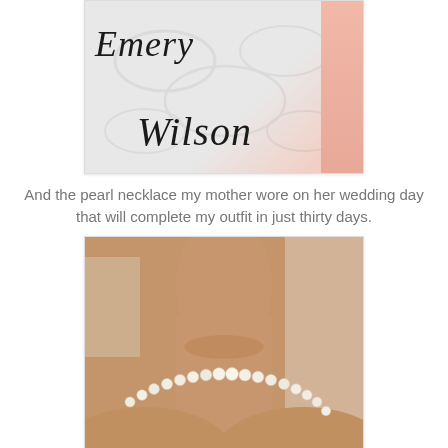[Figure (photo): Close-up photo of a card or stationery with cursive script text reading 'Emery' and 'Wilson', with a floral background pattern and pink edge on the right.]
And the pearl necklace my mother wore on her wedding day that will complete my outfit in just thirty days.
[Figure (photo): Photo of a person's neck wearing a classic white pearl necklace, photographed against a warm tan/beige background.]